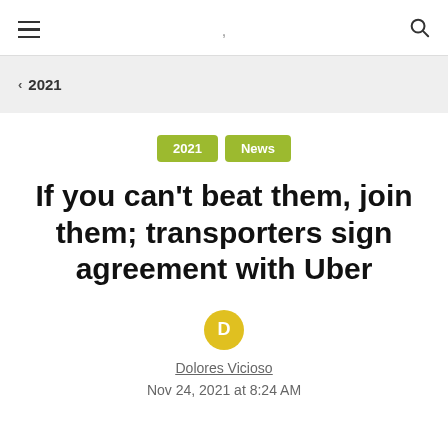≡   ,   🔍
❮ 2021
2021  News
If you can't beat them, join them; transporters sign agreement with Uber
D
Dolores Vicioso
Nov 24, 2021 at 8:24 AM